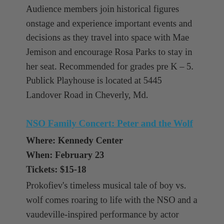Audience members join historical figures onstage and experience important events and decisions as they travel into space with Mae Jemison and encourage Rosa Parks to stay in her seat. Recommended for grades pre K – 5. Publick Playhouse is located at 5445 Landover Road in Cheverly, Md.
NSO Family Concert: Peter and the Wolf
Where: Kennedy Center
When: February 23
Tickets: $15-18
Prokofiev's timeless musical tale of boy vs. wolf comes roaring to life with the NSO and a vaudeville-inspired performance by actor Michael Boudewyns from theater